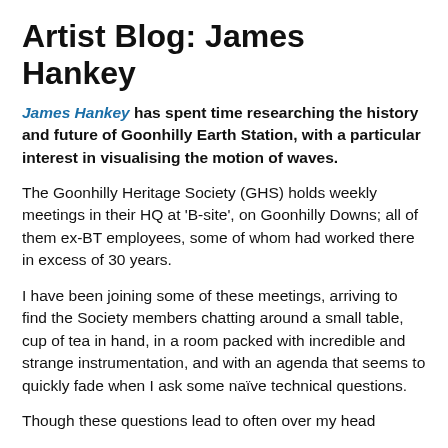Artist Blog: James Hankey
James Hankey has spent time researching the history and future of Goonhilly Earth Station, with a particular interest in visualising the motion of waves.
The Goonhilly Heritage Society (GHS) holds weekly meetings in their HQ at ‘B-site’, on Goonhilly Downs; all of them ex-BT employees, some of whom had worked there in excess of 30 years.
I have been joining some of these meetings, arriving to find the Society members chatting around a small table, cup of tea in hand, in a room packed with incredible and strange instrumentation, and with an agenda that seems to quickly fade when I ask some naïve technical questions.
Though these questions lead to often over my head...